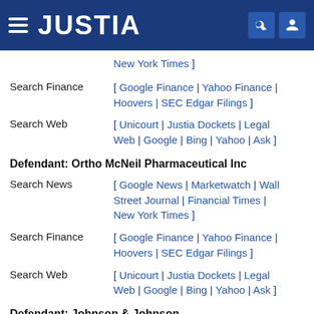[Figure (logo): Justia website header bar with hamburger menu, JUSTIA logo, search icon, and user icon]
New York Times ]
Search Finance   [ Google Finance | Yahoo Finance | Hoovers | SEC Edgar Filings ]
Search Web   [ Unicourt | Justia Dockets | Legal Web | Google | Bing | Yahoo | Ask ]
Defendant: Ortho McNeil Pharmaceutical Inc
Search News   [ Google News | Marketwatch | Wall Street Journal | Financial Times | New York Times ]
Search Finance   [ Google Finance | Yahoo Finance | Hoovers | SEC Edgar Filings ]
Search Web   [ Unicourt | Justia Dockets | Legal Web | Google | Bing | Yahoo | Ask ]
Defendant: Johnson & Johnson